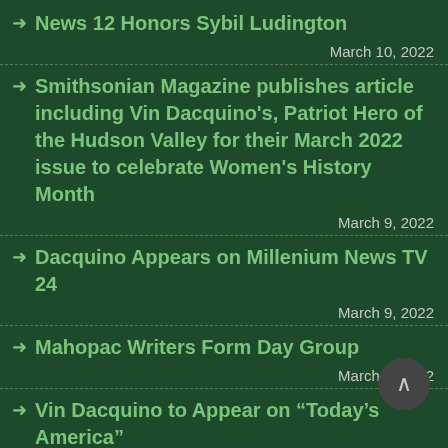News 12 Honors Sybil Ludington
March 10, 2022
Smithsonian Magazine publishes article including Vin Dacquino's, Patriot Hero of the Hudson Valley for their March 2022 issue to celebrate Women's History Month
March 9, 2022
Dacquino Appears on Millenium News TV 24
March 9, 2022
Mahopac Writers Form Day Group
March 1, 2022
Vin Dacquino to Appear on “Today’s America”
February 26, 2022